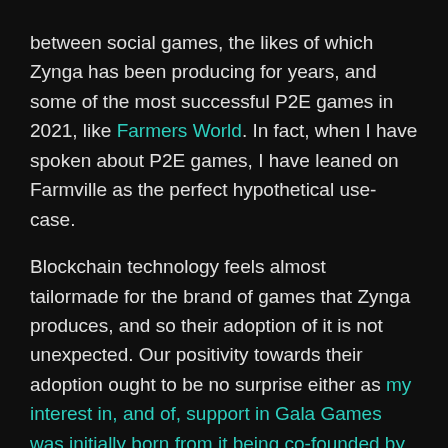between social games, the likes of which Zynga has been producing for years, and some of the most successful P2E games in 2021, like Farmers World. In fact, when I have spoken about P2E games, I have leaned on Farmville as the perfect hypothetical use-case.
Blockchain technology feels almost tailormade for the brand of games that Zynga produces, and so their adoption of it is not unexpected. Our positivity towards their adoption ought to be no surprise either as my interest in, and of, support in Gala Games was initially born from it being co-founded by Eric Schiermeyer, a co-founder of Zynga.
Who Is Forte?
Forte is a fascinating name in blockchain and one I have been following carefully. They have raised over $900m in